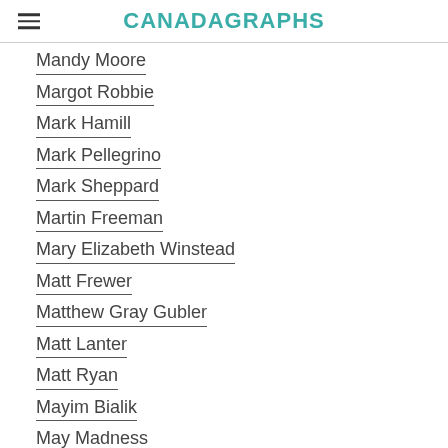CANADAGRAPHS
Mandy Moore
Margot Robbie
Mark Hamill
Mark Pellegrino
Mark Sheppard
Martin Freeman
Mary Elizabeth Winstead
Matt Frewer
Matthew Gray Gubler
Matt Lanter
Matt Ryan
Mayim Bialik
May Madness
McRoll